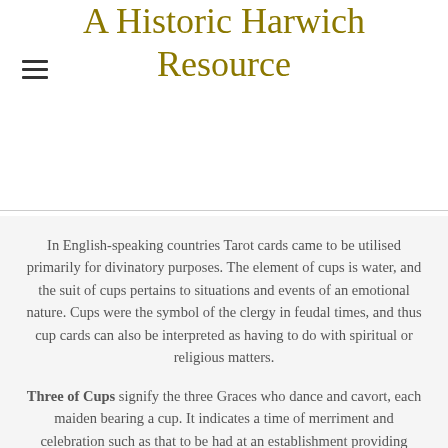A Historic Harwich Resource
In English-speaking countries Tarot cards came to be utilised primarily for divinatory purposes. The element of cups is water, and the suit of cups pertains to situations and events of an emotional nature. Cups were the symbol of the clergy in feudal times, and thus cup cards can also be interpreted as having to do with spiritual or religious matters.
Three of Cups signify the three Graces who dance and cavort, each maiden bearing a cup. It indicates a time of merriment and celebration such as that to be had at an establishment providing entertainment.